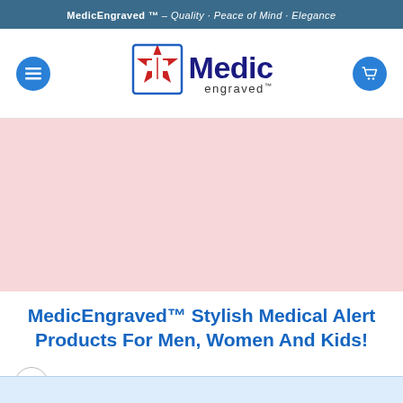MedicEngraved™ – Quality · Peace of Mind · Elegance
[Figure (logo): MedicEngraved logo with red star of life icon, blue 'Medic' text, and 'engraved' subtext with TM mark]
[Figure (illustration): Pink/rose colored hero banner image area (product image placeholder)]
MedicEngraved™ Stylish Medical Alert Products For Men, Women And Kids!